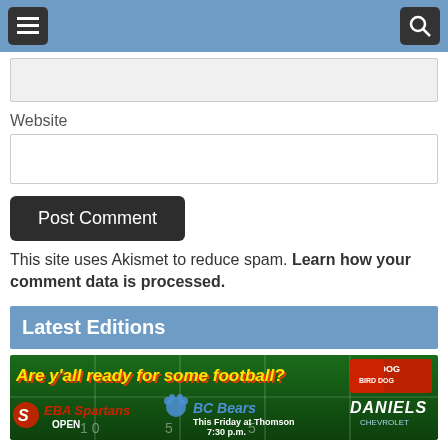Menu / Search
Website
Post Comment
This site uses Akismet to reduce spam. Learn how your comment data is processed.
Latest Editions
[Figure (infographic): Football game advertisement. Text: 'Are yall ready for some football?' EBA Spartans OPEN vs BC Bears This Friday at Thomson 7:30 p.m. Bird Dog logo and Daniels Chevrolet logo visible.]